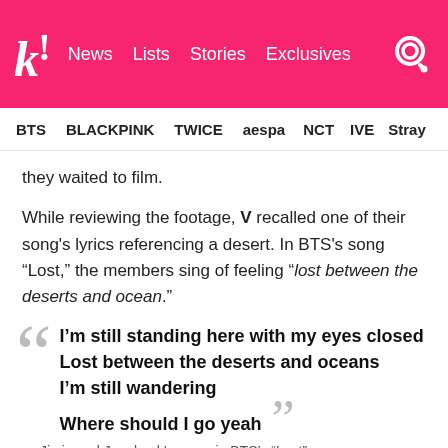k! | News   Lists   Stories   Exclusives
BTS   BLACKPINK   TWICE   aespa   NCT   IVE   Stray
they waited to film.
While reviewing the footage, V recalled one of their song's lyrics referencing a desert. In BTS's song “Lost,” the members sing of feeling “lost between the deserts and ocean.”
I’m still standing here with my eyes closed
Lost between the deserts and oceans
I’m still wandering
Where should I go yeah
— Jimin and Jungkook’s verse in BTS’s “Lost”